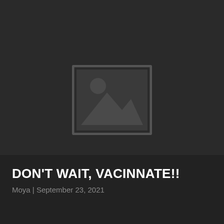[Figure (illustration): Placeholder image icon — a grey square frame with a small circle (sun) in the upper-left and a mountain/landscape silhouette in the lower portion, on a dark background]
DON'T WAIT, VACINNATE!!
Moya | September 23, 2021